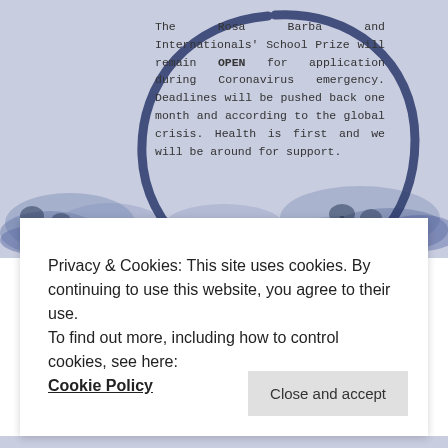[Figure (illustration): A light lavender-blue background with a large hand-drawn enso circle (brush stroke circle) in dark navy blue. Inside the circle is text about Rosa Barba and Internationals' School Prize remaining open during Coronavirus emergency. The bottom portion has watercolor-style blue-grey splashes suggesting a landscape.]
The Rosa Barba and Internationals' School Prize will remain OPEN for application during Coronavirus emergency. Deadlines will be pushed back one month and according to the global crisis. Health is first and we will be around for support.
Privacy & Cookies: This site uses cookies. By continuing to use this website, you agree to their use.
To find out more, including how to control cookies, see here: Cookie Policy